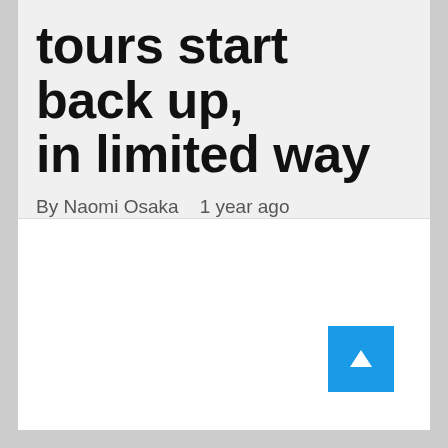tours start back up, in limited way
By Naomi Osaka   1 year ago